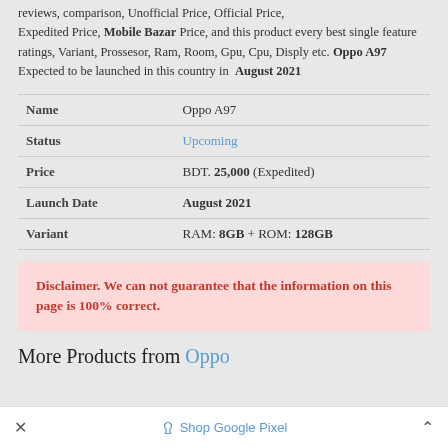reviews, comparison, Unofficial Price, Official Price, Expedited Price, Mobile Bazar Price, and this product every best single feature ratings, Variant, Prossesor, Ram, Room, Gpu, Cpu, Disply etc. Oppo A97 Expected to be launched in this country in August 2021
| Field | Value |
| --- | --- |
| Name | Oppo A97 |
| Status | Upcoming |
| Price | BDT. 25,000 (Expedited) |
| Launch Date | August 2021 |
| Variant | RAM: 8GB + ROM: 128GB |
Disclaimer. We can not guarantee that the information on this page is 100% correct.
More Products from Oppo
× Shop Google Pixel ^